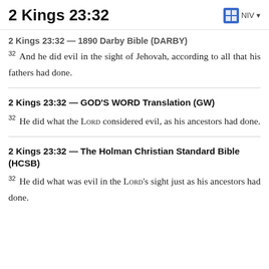2 Kings 23:32  NIV
2 Kings 23:32 — 1890 Darby Bible (DARBY)
32 And he did evil in the sight of Jehovah, according to all that his fathers had done.
2 Kings 23:32 — GOD'S WORD Translation (GW)
32 He did what the Lord considered evil, as his ancestors had done.
2 Kings 23:32 — The Holman Christian Standard Bible (HCSB)
32 He did what was evil in the Lord's sight just as his ancestors had done.